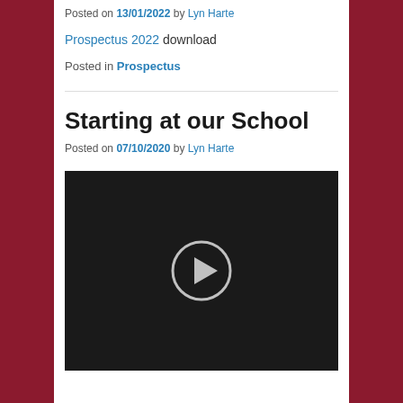Posted on 13/01/2022 by Lyn Harte
Prospectus 2022 download
Posted in Prospectus
Starting at our School
Posted on 07/10/2020 by Lyn Harte
[Figure (screenshot): Video player with black background and a circular play button in the center]